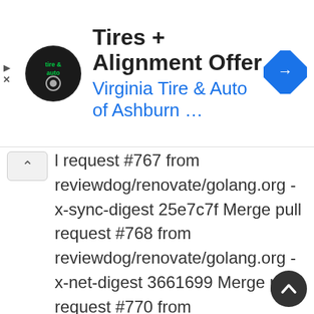[Figure (screenshot): Advertisement banner for Virginia Tire & Auto of Ashburn with logo, title 'Tires + Alignment Offer', subtitle 'Virginia Tire & Auto of Ashburn ...', and a blue diamond navigation arrow icon.]
l request #767 from reviewdog/renovate/golang.org -x-sync-digest 25e7c7f Merge pull request #768 from reviewdog/renovate/golang.org -x-net-digest 3661699 Merge pull request #770 from reviewdog/renovate/golang.org -x-net-digest ef72ba8 Merge pull request #771 from reviewdog/renovate/cloud.google.com-go-0.x 260c421 Merge pull request #772 from reviewdog/renovate/golang.org -x-net-digest 8e8ee96 Merge